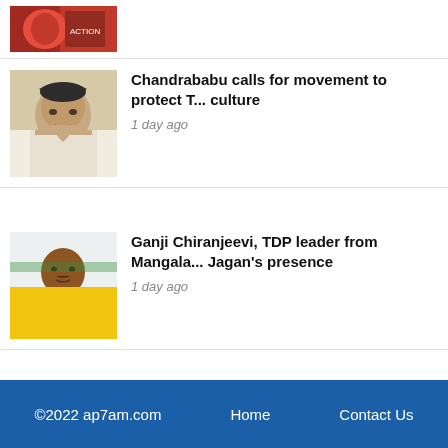[Figure (photo): Boxing/action movie poster image showing a person with boxing gloves]
[Figure (photo): Photo of Chandrababu Naidu, political leader]
Chandrababu calls for movement to protect Telugu culture
1 day ago
[Figure (photo): Photo of Ganji Chiranjeevi, TDP leader, wearing yellow vest]
Ganji Chiranjeevi, TDP leader from Mangala..., joins in Jagan's presence
1 day ago
©2022 ap7am.com   Home   Contact Us